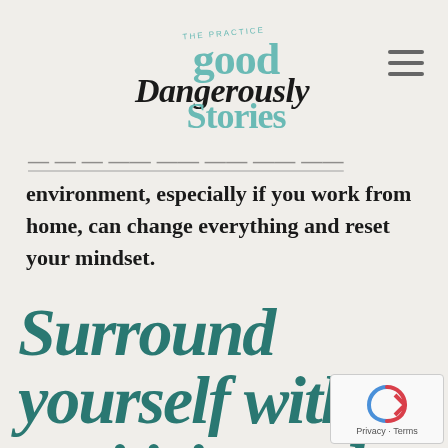[Figure (logo): The Practice good Dangerously Stories logo in teal/script lettering]
…improving your work environment, especially if you work from home, can change everything and reset your mindset.
Surround yourself with positivity and